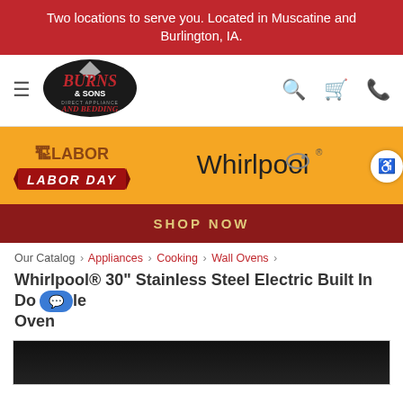Two locations to serve you. Located in Muscatine and Burlington, IA.
[Figure (logo): Burns & Sons Direct Appliance and Bedding logo on black oval]
[Figure (infographic): Labor Day promotional banner with Whirlpool logo on orange background with Shop Now button]
Our Catalog › Appliances › Cooking › Wall Ovens ›
Whirlpool® 30" Stainless Steel Electric Built In Double Oven
[Figure (photo): Partial view of Whirlpool stainless steel built-in electric wall oven]